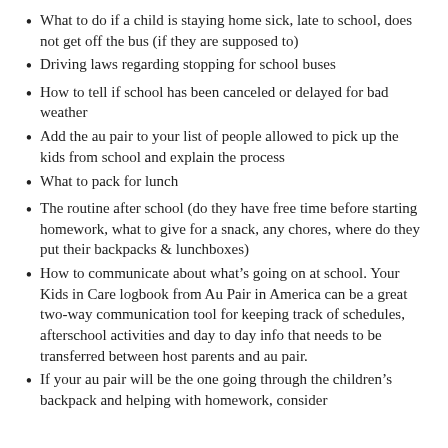What to do if a child is staying home sick, late to school, does not get off the bus (if they are supposed to)
Driving laws regarding stopping for school buses
How to tell if school has been canceled or delayed for bad weather
Add the au pair to your list of people allowed to pick up the kids from school and explain the process
What to pack for lunch
The routine after school (do they have free time before starting homework, what to give for a snack, any chores, where do they put their backpacks & lunchboxes)
How to communicate about what’s going on at school. Your Kids in Care logbook from Au Pair in America can be a great two-way communication tool for keeping track of schedules, afterschool activities and day to day info that needs to be transferred between host parents and au pair.
If your au pair will be the one going through the children’s backpack and helping with homework, consider